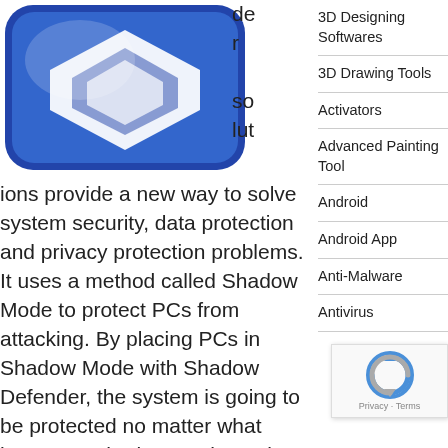[Figure (logo): Shadow Defender blue rounded square icon with a white arrow/shield symbol]
der so lut
ions provide a new way to solve system security, data protection and privacy protection problems. It uses a method called Shadow Mode to protect PCs from attacking. By placing PCs in Shadow Mode with Shadow Defender, the system is going to be protected no matter what happens. Shadow Mode tracks all the change and redirects them to an unused location on the disk. These system changes can be permanently saved to disk, or completely discarded. Shadow Mode is the most efficient and intelligent way to protect PCs.
3D Designing Softwares
3D Drawing Tools
Activators
Advanced Painting Tool
Android
Android App
Anti-Malware
Antivirus
[Figure (other): reCAPTCHA widget overlay showing the Google reCAPTCHA logo and 'Privacy - Terms' text]